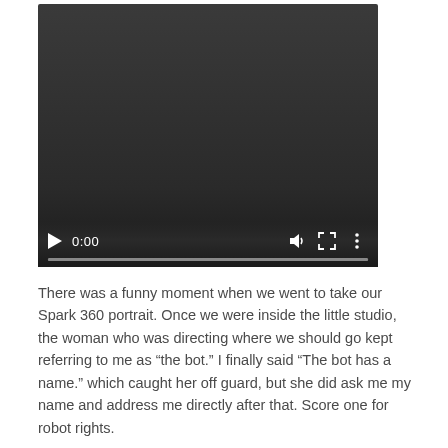[Figure (screenshot): A video player with dark background showing 0:00 timestamp, play button, volume icon, fullscreen icon, and more options icon with a progress bar at the bottom.]
There was a funny moment when we went to take our Spark 360 portrait. Once we were inside the little studio, the woman who was directing where we should go kept referring to me as “the bot.” I finally said “The bot has a name.” which caught her off guard, but she did ask me my name and address me directly after that. Score one for robot rights.